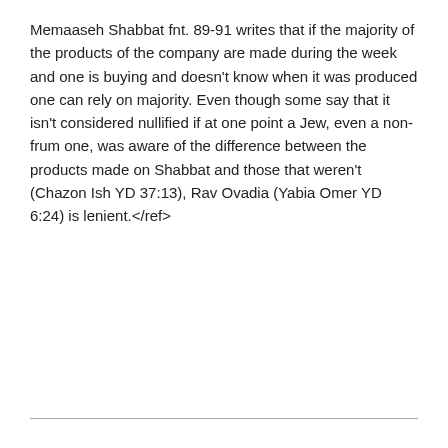Memaaseh Shabbat fnt. 89-91 writes that if the majority of the products of the company are made during the week and one is buying and doesn't know when it was produced one can rely on majority. Even though some say that it isn't considered nullified if at one point a Jew, even a non-frum one, was aware of the difference between the products made on Shabbat and those that weren't (Chazon Ish YD 37:13), Rav Ovadia (Yabia Omer YD 6:24) is lenient.</ref>